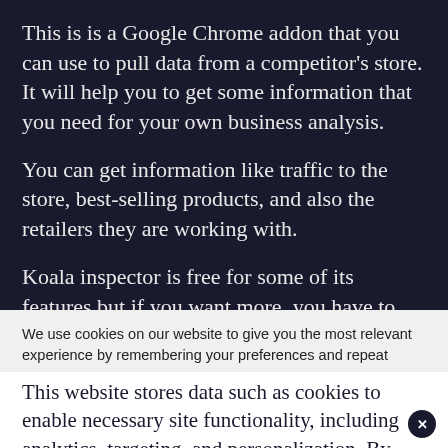This is is a Google Chrome addon that you can use to pull data from a competitor's store. It will help you to get some information that you need for your own business analysis.
You can get information like traffic to the store, best-selling products, and also the retailers they are working with.
Koala inspector is free for some of its features but if you want more, you have to pay a subscription fee
We use cookies on our website to give you the most relevant experience by remembering your preferences and repeat
visits. By clicking "Accept All", you consent to the use of ALL the cookies. However, you may visit "Cookie Settings" to provide a controlled consent.
This website stores data such as cookies to enable necessary site functionality, including analytics, targeting, and personalization. By remaining on this website you indicate your consent Cookie Policy